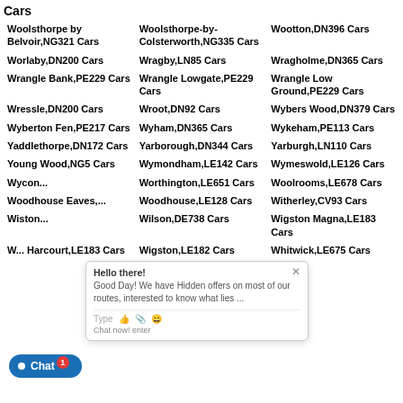Cars
Woolsthorpe by Belvoir,NG321 Cars
Woolsthorpe-by-Colsterworth,NG335 Cars
Wootton,DN396 Cars
Worlaby,DN200 Cars
Wragby,LN85 Cars
Wragholme,DN365 Cars
Wrangle Bank,PE229 Cars
Wrangle Lowgate,PE229 Cars
Wrangle Low Ground,PE229 Cars
Wressle,DN200 Cars
Wroot,DN92 Cars
Wybers Wood,DN379 Cars
Wyberton Fen,PE217 Cars
Wyham,DN365 Cars
Wykeham,PE113 Cars
Yaddlethorpe,DN172 Cars
Yarborough,DN344 Cars
Yarburgh,LN110 Cars
Young Wood,NG5 Cars
Wymondham,LE142 Cars
Wymeswold,LE126 Cars
Wycon...
Worthington,LE651 Cars
Woolrooms,LE678 Cars
Woodhouse Eaves,...
Woodhouse,LE128 Cars
Witherley,CV93 Cars
Wiston...
Wilson,DE738 Cars
Wigston Magna,LE183 Cars
W... Harcourt,LE183 Cars
Wigston,LE182 Cars
Whitwick,LE675 Cars